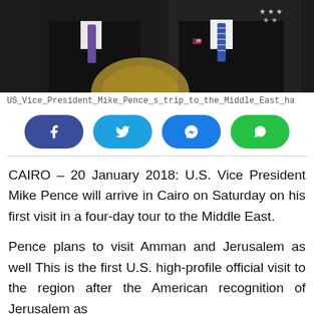[Figure (photo): Two men in suits standing together, one wearing a purple tie, the other a striped blue tie with an American flag pin, with a presidential seal visible in the background.]
US_Vice_President_Mike_Pence_s_trip_to_the_Middle_East_ha
[Figure (infographic): Social sharing buttons: Facebook (dark blue), Twitter (light blue), Messenger (blue), WhatsApp (green)]
CAIRO – 20 January 2018: U.S. Vice President Mike Pence will arrive in Cairo on Saturday on his first visit in a four-day tour to the Middle East.
Pence plans to visit Amman and Jerusalem as well This is the first U.S. high-profile official visit to the region after the American recognition of Jerusalem as